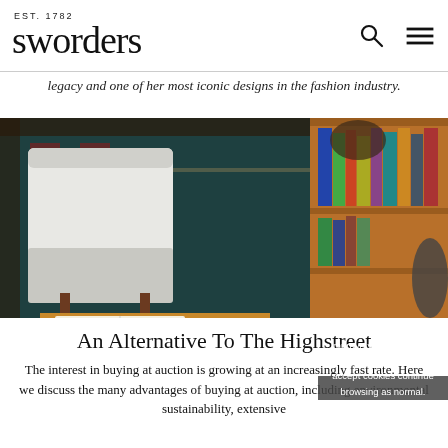EST. 1782 sworders
legacy and one of her most iconic designs in the fashion industry.
[Figure (photo): Interior room scene with Persian/oriental rug on floor, white armchair, wooden bookshelf with books, and a low coffee table with open book on it.]
We use cookies to improve your experience and our service. To accept cookies continue browsing as normal. Read our Cookie Policy for more information.
Ok
An Alternative To The Highstreet
The interest in buying at auction is growing at an increasingly fast rate. Here we discuss the many advantages of buying at auction, including environmental sustainability, extensive